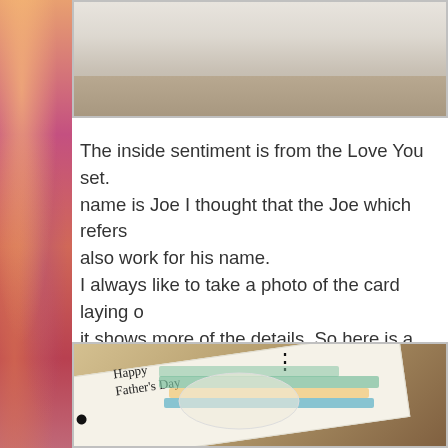[Figure (photo): Photo of card interior showing blank/closed card pages on a surface]
The inside sentiment is from the Love You set. name is Joe I thought that the Joe which refers also work for his name.
I always like to take a photo of the card laying o... it shows more of the details. So here is a laying...
[Figure (photo): Photo of a Father's Day card laying flat on a wooden table, showing 'Happy Father's Day' text and colorful brush stroke design with fishing/nature elements]